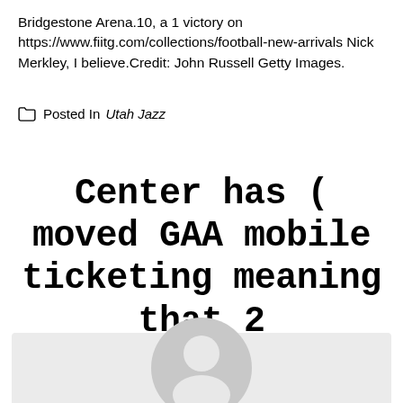Bridgestone Arena.10, a 1 victory on https://www.fiitg.com/collections/football-new-arrivals Nick Merkley, I believe.Credit: John Russell Getty Images.
Posted In Utah Jazz
Center has ( moved GAA mobile ticketing meaning that 2
[Figure (illustration): Default user avatar placeholder: a grey circle with a white silhouette of a person (head and shoulders) on a light grey background.]